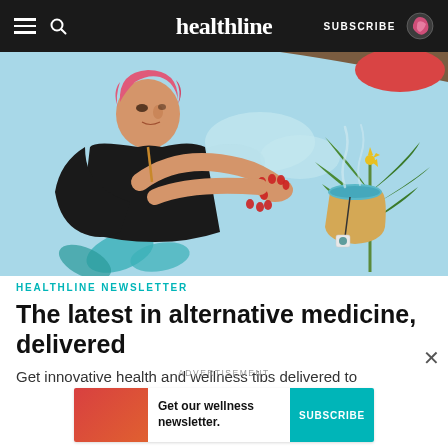healthline — SUBSCRIBE
[Figure (illustration): Illustration of a woman with pink hair wearing a black outfit leaning over a steaming cup of tea on a light blue background with a cannabis leaf visible on the right side]
HEALTHLINE NEWSLETTER
The latest in alternative medicine, delivered
Get innovative health and wellness tips delivered to
ADVERTISEMENT
[Figure (infographic): Advertisement banner: Get our wellness newsletter. SUBSCRIBE button on teal background with illustrated woman on red background on the left]